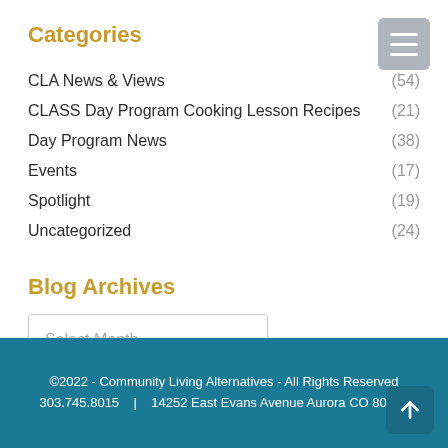Categories
CLA News & Views (54)
CLASS Day Program Cooking Lesson Recipes (21)
Day Program News (38)
Events (17)
Spotlight (19)
Uncategorized (24)
Blog Archives
Select Month
©2022 - Community Living Alternatives - All Rights Reserved
303.745.8015   |   14252 East Evans Avenue Aurora CO 80014